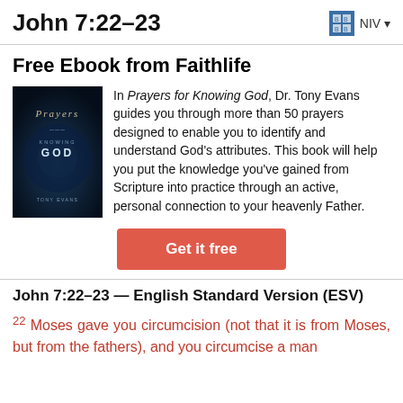John 7:22–23   NIV
Free Ebook from Faithlife
[Figure (illustration): Book cover of 'Prayers for Knowing God' by Tony Evans — dark blue background with foggy atmospheric design and white title text]
In Prayers for Knowing God, Dr. Tony Evans guides you through more than 50 prayers designed to enable you to identify and understand God's attributes. This book will help you put the knowledge you've gained from Scripture into practice through an active, personal connection to your heavenly Father.
Get it free
John 7:22–23 — English Standard Version (ESV)
22 Moses gave you circumcision (not that it is from Moses, but from the fathers), and you circumcise a man